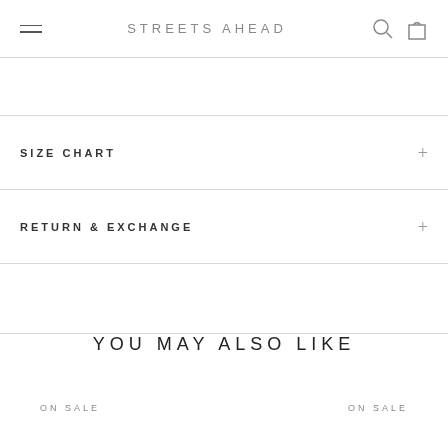STREETS AHEAD
SIZE CHART
RETURN & EXCHANGE
YOU MAY ALSO LIKE
ON SALE
ON SALE